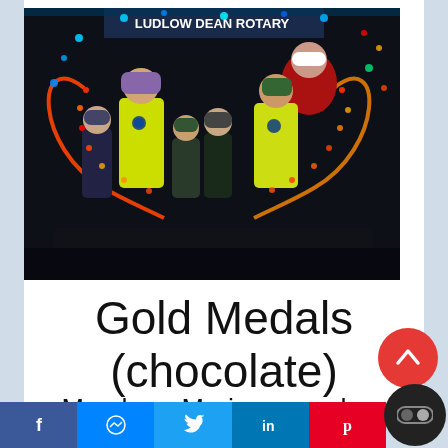[Figure (photo): Group photo of people including children and adults in yellow high-visibility vests standing in front of a Ludlow Dean Rotary float with coloured lights, at night. Santa is visible in the background.]
Gold Medals (chocolate)
Members Marianne and Andrew were in Santas